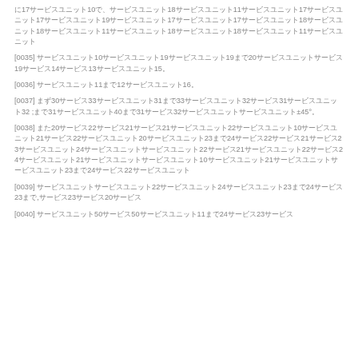に17サービスユニット10で、サービスユニット18サービスユニット11サービスユニット17サービスユニット17サービスユニット19サービスユニット17サービスユニット17サービスユニット18サービスユニット18サービスユニット11サービスユニット18サービスユニット18サービスユニット11サービスユニット
[0035] サービスユニット10サービスユニット19サービスユニット19まで20サービスユニットサービス19サービス14サービス13サービスユニット15。
[0036] サービスユニット11まで12サービスユニット16。
[0037] まず30サービス33サービスユニット31まで33サービスユニット32サービス31サービスユニット32 ;まで31サービスユニット40まで31サービス32サービスユニットサービスユニット±45°。
[0038] また20サービス22サービス21サービス21サービスユニット22サービスユニット10サービスユニット21サービス22サービスユニット20サービスユニット23まで24サービス22サービス21サービス23サービスユニット24サービスユニットサービスユニット22サービス21サービスユニット22サービス24サービスユニット21サービスユニットサービスユニット10サービスユニット21サービスユニットサービスユニット23まで24サービス22サービスユニット
[0039] サービスユニットサービスユニット22サービスユニット24サービスユニット23まで24サービス23まで,サービス23サービス20サービス
[0040] サービスユニット50サービス50サービスユニット11まで24サービス23サービス